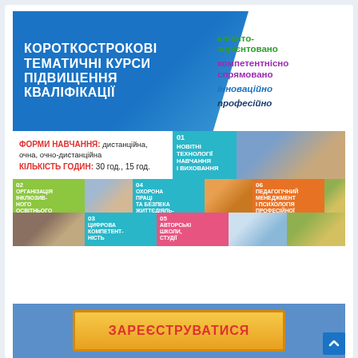[Figure (infographic): Ukrainian educational infographic about short-term thematic qualification improvement courses. Contains blue header with title 'КОРОТКОСТРОКОВІ ТЕМАТИЧНІ КУРСИ ПІДВИЩЕННЯ КВАЛІФІКАЦІЇ', descriptors (клієнто-зорієнтовано, компетентнісно спрямовано, інноваційно, професійно), forms of study, hours, and 6 numbered topic tiles with photos.]
[Figure (infographic): Registration button area with blue background and golden button labeled ЗАРЕЄСТРУВАТИСЯ]